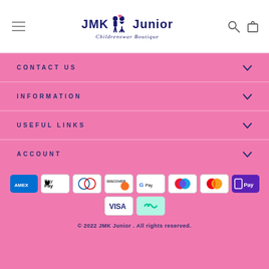JMK Junior Childrenswar Boutique - navigation header with hamburger menu, logo, search and bag icons
CONTACT US
INFORMATION
USEFUL LINKS
ACCOUNT
[Figure (infographic): Payment method icons: American Express, Apple Pay, Diners Club, Discover, Google Pay, Maestro, Mastercard, Samsung Pay, Visa, Afterpay]
© 2022 JMK Junior . All rights reserved.